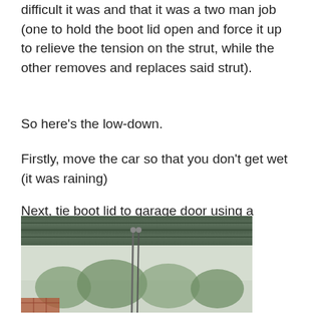difficult it was and that it was a two man job (one to hold the boot lid open and force it up to relieve the tension on the strut, while the other removes and replaces said strut).
So here’s the low-down.
Firstly, move the car so that you don’t get wet (it was raining)
Next, tie boot lid to garage door using a bungie strap (now it’s a one man job!)
[Figure (photo): Photo showing a garage door from below with a bungee strap tied between the boot lid and the garage door. Trees and overcast sky are visible in the background. Brick wall visible on lower left.]